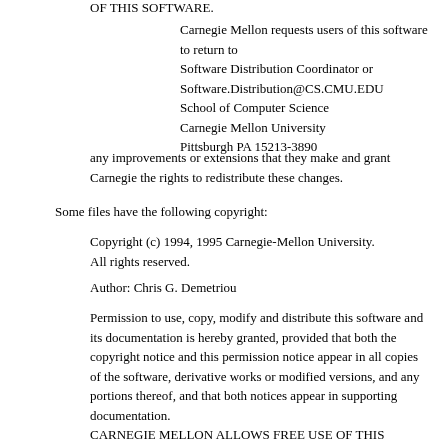OF THIS SOFTWARE.
Carnegie Mellon requests users of this software to return to Software Distribution Coordinator or Software.Distribution@CS.CMU.EDU School of Computer Science Carnegie Mellon University Pittsburgh PA 15213-3890
any improvements or extensions that they make and grant Carnegie the rights to redistribute these changes.
Some files have the following copyright:
Copyright (c) 1994, 1995 Carnegie-Mellon University. All rights reserved.
Author: Chris G. Demetriou
Permission to use, copy, modify and distribute this software and its documentation is hereby granted, provided that both the copyright notice and this permission notice appear in all copies of the software, derivative works or modified versions, and any portions thereof, and that both notices appear in supporting documentation.
CARNEGIE MELLON ALLOWS FREE USE OF THIS SOFTWARE IN ITS "AS IS" CONDITION. CARNEGIE MELLON DISCLAIMS ANY LIABILITY OF ANY KIND FOR ANY DAMAGES WHATSOEVER RESULTING FROM THE USE OF THIS SOFTWARE.